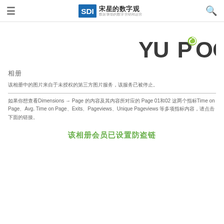≡  SDI 宋星的数字观 数据驱动的数字营销和运营  🔍
[Figure (logo): Yupoo logo in dark gray and green text]
相册
该相册中的图片来自于未授权的第三方图片服务，该服务已被停止。
如果你想查看Dimensions → Page 的内容及其内容所对应的 Page 01和02 这两个指标Time on Page、Avg. Time on Page、Exits、Pageviews、Unique Pageviews 等多项指标内容，请点击下面的链接。
该相册会员已设置防盗链